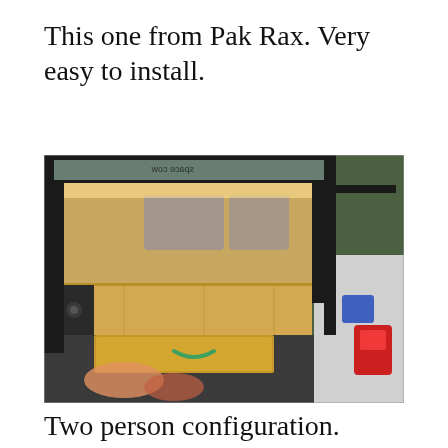This one from Pak Rax. Very easy to install.
[Figure (photo): Photograph of a truck bed with a camper shell open, showing a wooden slide-out drawer system with a pull handle, installed in the truck bed. Trees and a driveway are visible in the background.]
Two person configuration. Drawer is